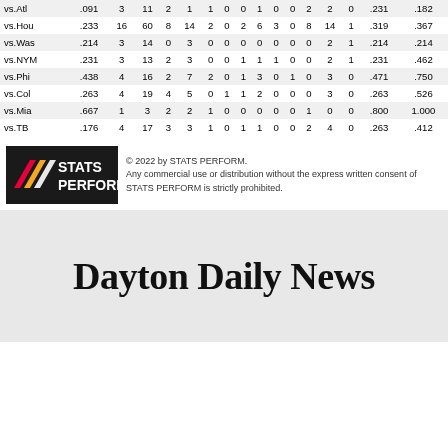|  | AVG | G | AB | R | H | 2B | 3B | HR | RBI | SB | CS | BB | SO | HBP | OBP | SLG |
| --- | --- | --- | --- | --- | --- | --- | --- | --- | --- | --- | --- | --- | --- | --- | --- | --- |
| vs.Atl | .091 | 3 | 11 | 2 | 1 | 1 | 0 | 0 | 1 | 0 | 0 | 2 | 2 | 0 | .231 | .182 |
| vs.Hou | .233 | 16 | 60 | 8 | 14 | 2 | 0 | 2 | 6 | 3 | 0 | 8 | 14 | 1 | .319 | .367 |
| vs.Was | .214 | 3 | 14 | 0 | 3 | 0 | 0 | 0 | 0 | 0 | 0 | 0 | 2 | 1 | .214 | .214 |
| vs.NYM | .231 | 3 | 13 | 2 | 3 | 0 | 0 | 1 | 1 | 1 | 0 | 0 | 2 | 1 | .231 | .462 |
| vs.Phi | .438 | 4 | 16 | 2 | 7 | 2 | 0 | 1 | 3 | 0 | 1 | 0 | 3 | 0 | .471 | .750 |
| vs.Col | .263 | 4 | 19 | 4 | 5 | 0 | 1 | 1 | 2 | 0 | 0 | 0 | 3 | 0 | .263 | .526 |
| vs.Mia | .667 | 1 | 3 | 2 | 2 | 1 | 0 | 0 | 0 | 0 | 0 | 1 | 0 | 0 | .800 | 1.000 |
| vs.TB | .176 | 4 | 17 | 3 | 3 | 1 | 0 | 1 | 1 | 0 | 0 | 2 | 4 | 0 | .263 | .412 |
[Figure (logo): STATS PERFORM logo — black background with red and orange diagonal stripes and white bold text]
© 2022 by STATS PERFORM. Any commercial use or distribution without the express written consent of STATS PERFORM is strictly prohibited.
Dayton Daily News